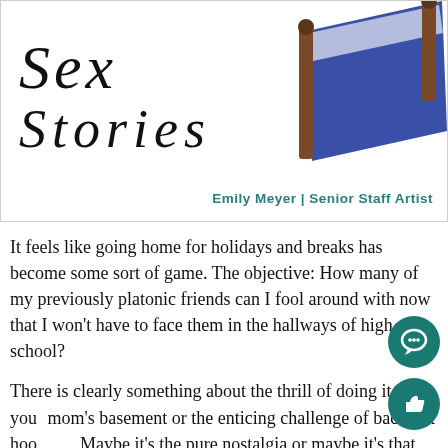[Figure (illustration): Illustration/logo showing the text 'Sex Stories' in large serif italic font alongside a drawing of a bed with blue mattress and brown wooden frame, with byline 'Emily Meyer | Senior Staff Artist']
Emily Meyer | Senior Staff Artist
It feels like going home for holidays and breaks has become some sort of game. The objective: How many of my previously platonic friends can I fool around with now that I won't have to face them in the hallways of high school?
There is clearly something about the thrill of doing it in your mom's basement or the enticing challenge of backseat hookups. Maybe it's the pure nostalgia or maybe it's that exciting anticipation as you weigh the odds of whether mom is going to come down and do the laundry mid hook-up sesh. Whatever it is